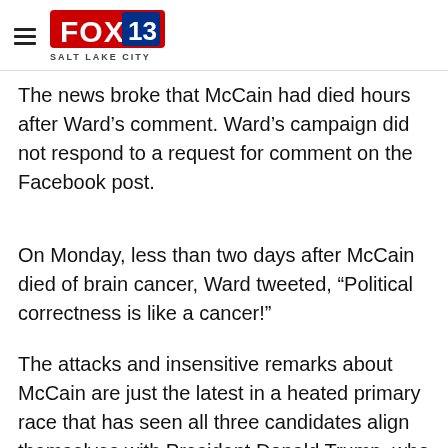FOX 13 Salt Lake City
The news broke that McCain had died hours after Ward’s comment. Ward’s campaign did not respond to a request for comment on the Facebook post.
On Monday, less than two days after McCain died of brain cancer, Ward tweeted, “Political correctness is like a cancer!”
The attacks and insensitive remarks about McCain are just the latest in a heated primary race that has seen all three candidates align themselves with President Donald Trump, who attacked McCain relentlessly for three years, rather than McCain or retiring Sen. Jeff